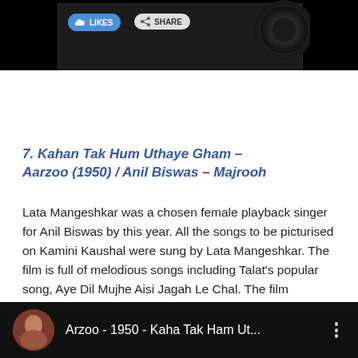[Figure (screenshot): Top black banner area with a video thumbnail showing likes and share buttons, and a vinyl record disc partially visible]
7. Kahan Tak Hum Uthaye Gham – Aarzoo (1950) / Anil Biswas – Majrooh
Lata Mangeshkar was a chosen female playback singer for Anil Biswas by this year. All the songs to be picturised on Kamini Kaushal were sung by Lata Mangeshkar. The film is full of melodious songs including Talat's popular song, Aye Dil Mujhe Aisi Jagah Le Chal. The film however had none of the duets by Lata Mangeshkar and Talat Mahmood. I know this time I've a number of soulful, sad songs on my list. But I couldn't help that.
[Figure (screenshot): YouTube video thumbnail showing Arzoo - 1950 - Kaha Tak Ham Ut... with a circular portrait thumbnail and three-dot menu]